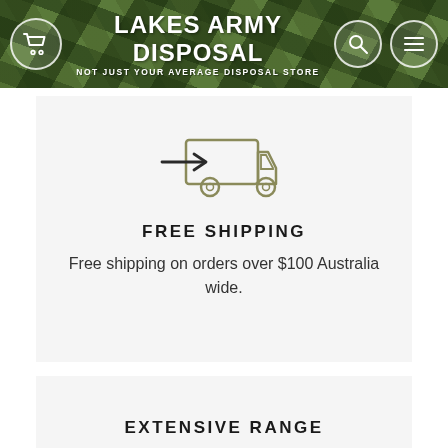LAKES ARMY DISPOSAL — NOT JUST YOUR AVERAGE DISPOSAL STORE
[Figure (illustration): Delivery truck icon with arrow pointing right, drawn in olive/khaki outline style]
FREE SHIPPING
Free shipping on orders over $100 Australia wide.
EXTENSIVE RANGE